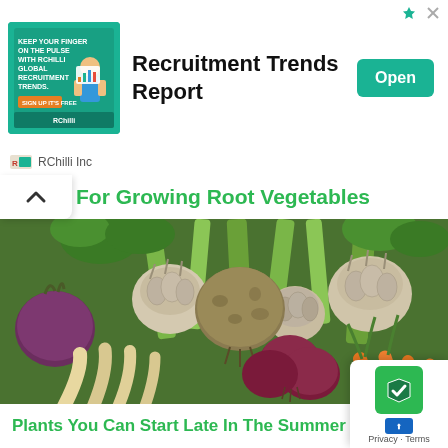[Figure (screenshot): Advertisement banner for RChilli Inc showing 'Recruitment Trends Report' with a green banner ad image, Open button, and RChilli Inc logo/name at bottom.]
For Growing Root Vegetables
[Figure (photo): Photograph of assorted root vegetables including garlic bulbs, red onions, carrots, parsnips, beets, celeriac, leeks and herbs arranged together.]
Plants You Can Start Late In The Summer